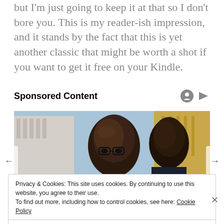but I'm just going to keep it at that so I don't bore you. This is my reader-ish impression, and it stands by the fact that this is yet another classic that might be worth a shot if you want to get it free on your Kindle.
Sponsored Content
[Figure (photo): Two men standing outdoors, one wearing glasses in front, another behind him, with a building visible in the background]
Privacy & Cookies: This site uses cookies. By continuing to use this website, you agree to their use.
To find out more, including how to control cookies, see here: Cookie Policy
Close and accept